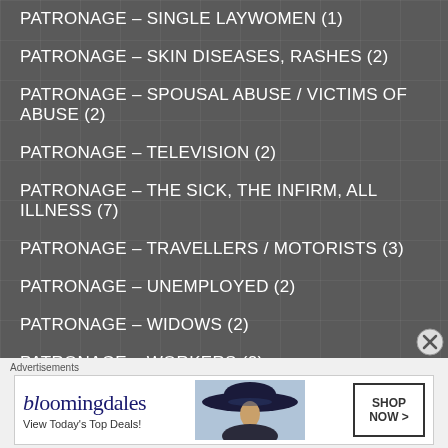PATRONAGE – SINGLE LAYWOMEN (1)
PATRONAGE – SKIN DISEASES, RASHES (2)
PATRONAGE – SPOUSAL ABUSE / VICTIMS OF ABUSE (2)
PATRONAGE – TELEVISION (2)
PATRONAGE – THE SICK, THE INFIRM, ALL ILLNESS (7)
PATRONAGE – TRAVELLERS / MOTORISTS (3)
PATRONAGE – UNEMPLOYED (2)
PATRONAGE – WIDOWS (2)
PATRONAGE – WORKERS (2)
PATRONAGE – CANCER (2)
Advertisements
[Figure (other): Bloomingdale's advertisement banner with logo, tagline 'View Today's Top Deals!', woman with hat image, and 'SHOP NOW >' button]